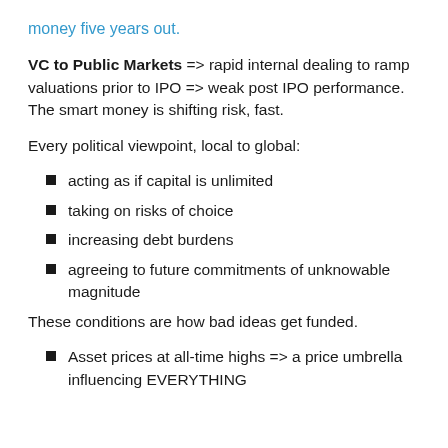money five years out.
VC to Public Markets => rapid internal dealing to ramp valuations prior to IPO => weak post IPO performance. The smart money is shifting risk, fast.
Every political viewpoint, local to global:
acting as if capital is unlimited
taking on risks of choice
increasing debt burdens
agreeing to future commitments of unknowable magnitude
These conditions are how bad ideas get funded.
Asset prices at all-time highs => a price umbrella influencing EVERYTHING